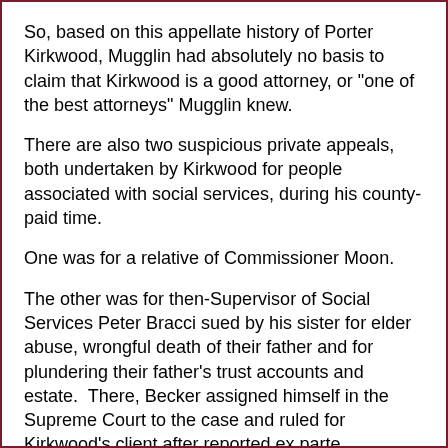So, based on this appellate history of Porter Kirkwood, Mugglin had absolutely no basis to claim that Kirkwood is a good attorney, or "one of the best attorneys" Mugglin knew.
There are also two suspicious private appeals, both undertaken by Kirkwood for people associated with social services, during his county-paid time.
One was for a relative of Commissioner Moon.
The other was for then-Supervisor of Social Services Peter Bracci sued by his sister for elder abuse, wrongful death of their father and for plundering their father's trust accounts and estate.  There, Becker assigned himself in the Supreme Court to the case and ruled for Kirkwood's client after reported ex parte discussions behind the courthouse, even though Kirkwood failed to raise the issue of standing in the answer on behalf of his clients (I reviewed the case).